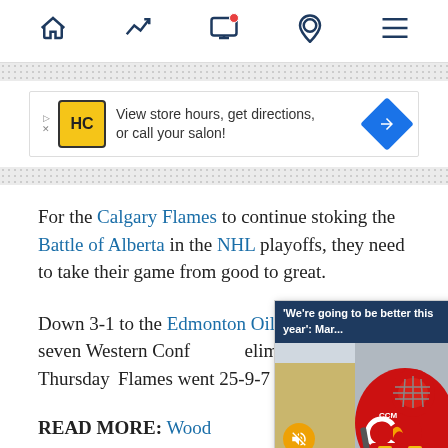Navigation bar with home, trending, screen/notifications, location, and menu icons
[Figure (screenshot): Advertisement banner: HC logo, text 'View store hours, get directions, or call your salon!' with blue diamond arrow icon]
For the Calgary Flames to continue stoking the Battle of Alberta in the NHL playoffs, they need to take their game from good to great.
Down 3-1 to the Edmonton Oilers in the best-of-seven Western Conference semifinal facing elimination Thursday... Flames went 25-9-7
[Figure (screenshot): Video popup overlay showing Calgary Flames goalie in red uniform, with popup bar reading: 'We're going to be better this year': Mar... with close X button, and mute button overlay]
READ MORE: Wood... win away from reac